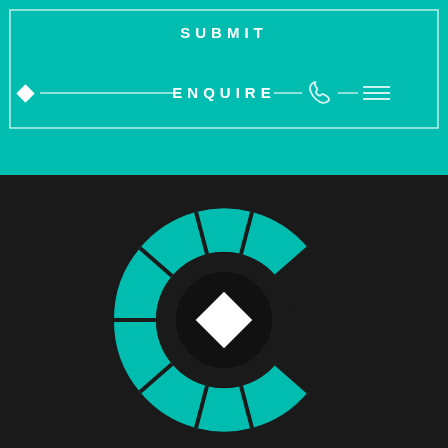[Figure (screenshot): Navigation bar UI on teal background with SUBMIT text, ENQUIRE label, phone icon, diamond bullet, horizontal lines, and hamburger menu icon]
[Figure (logo): Large circular C-shaped logo made of teal segmented arc pieces with a dark center circle containing a white diamond/square rotated 45 degrees, on dark background]